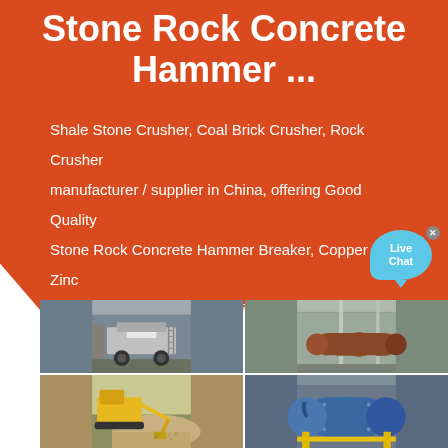Stone Rock Concrete Hammer ...
Shale Stone Crusher, Coal Brick Crusher, Rock Crusher manufacturer / supplier in China, offering Good Quality Stone Rock Concrete Hammer Breaker, Copper Zinc Gold Nickel Lead Zinc Graphite Flotation Cell Floatation Tank Equipment, Antimony Concentrate
[Figure (photo): Four industrial machinery photos in a 2x2 grid: top-left shows a mobile stone crusher in a warehouse, top-right shows a large rotary kiln or drum in an industrial facility, bottom-left shows a yellow excavator or construction machine loading crushed stone/gravel, bottom-right shows a large blue industrial ball mill or grinding machine.]